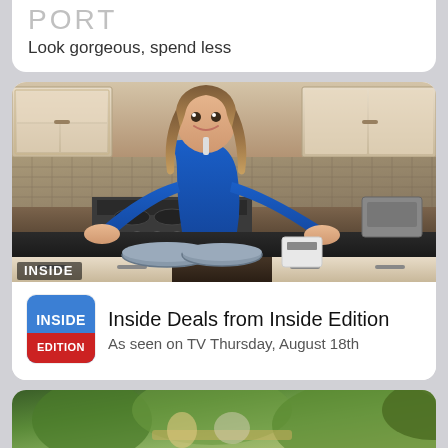PORT
Look gorgeous, spend less
[Figure (photo): Woman in blue top presenting products in a kitchen setting, with pans and items on the counter. INSIDE logo watermark at bottom left.]
[Figure (logo): Inside Edition logo — blue square with white text INSIDE and red text EDITION]
Inside Deals from Inside Edition
As seen on TV Thursday, August 18th
[Figure (photo): Outdoor garden or patio scene with greenery and items on a table, partially visible at bottom of page.]